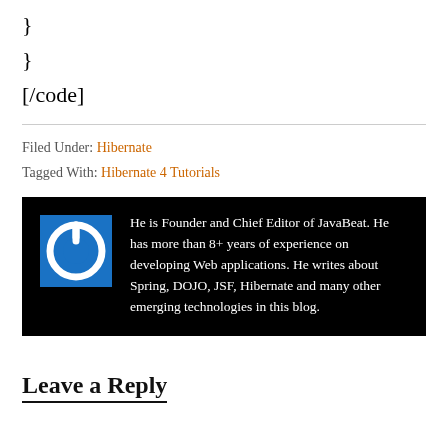}
}
[/code]
Filed Under: Hibernate
Tagged With: Hibernate 4 Tutorials
[Figure (infographic): Black author box with blue power button logo and text: He is Founder and Chief Editor of JavaBeat. He has more than 8+ years of experience on developing Web applications. He writes about Spring, DOJO, JSF, Hibernate and many other emerging technologies in this blog.]
Leave a Reply